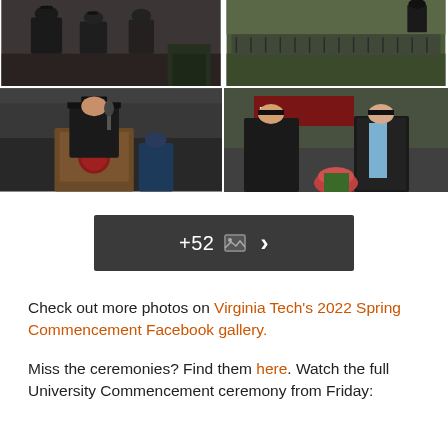[Figure (photo): Four-panel photo grid showing Virginia Tech 2022 Spring Commencement: top-left shows graduates in academic regalia on stage, top-right shows chairs set up outdoors, bottom-left shows a student in cap and gown speaking at a podium with a microphone, bottom-right shows a presenter handing diploma to a graduate in front of a Virginia Tech banner.]
[Figure (other): Dark button showing '+52' with a photo icon and right arrow chevron, linking to more photos in the gallery]
Check out more photos on Virginia Tech's 2022 Spring Commencement Facebook gallery.
Miss the ceremonies? Find them here. Watch the full University Commencement ceremony from Friday: